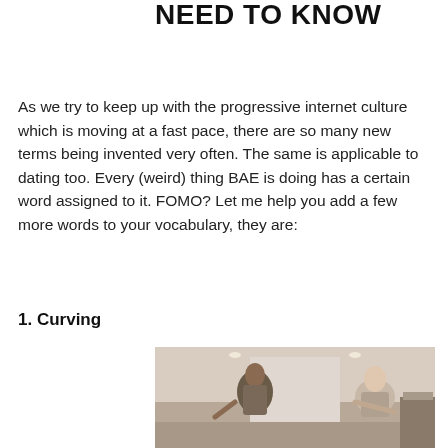NEED TO KNOW
As we try to keep up with the progressive internet culture which is moving at a fast pace, there are so many new terms being invented very often. The same is applicable to dating too. Every (weird) thing BAE is doing has a certain word assigned to it. FOMO? Let me help you add a few more words to your vocabulary, they are:
1. Curving
[Figure (photo): Two women in a kitchen/hallway scene, one appears to be dancing or gesturing expressively]